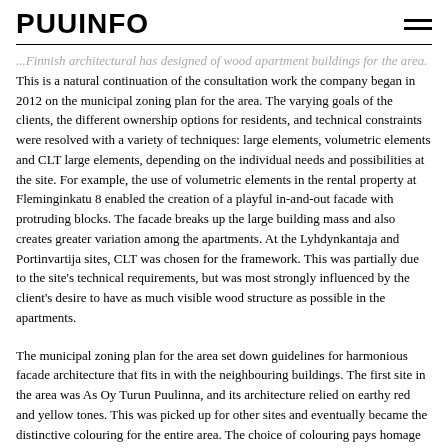PUUINFO
...Finnish architectural designed of wood apartment buildings for the area. This is a natural continuation of the consultation work the company began in 2012 on the municipal zoning plan for the area. The varying goals of the clients, the different ownership options for residents, and technical constraints were resolved with a variety of techniques: large elements, volumetric elements and CLT large elements, depending on the individual needs and possibilities at the site. For example, the use of volumetric elements in the rental property at Fleminginkatu 8 enabled the creation of a playful in-and-out facade with protruding blocks. The facade breaks up the large building mass and also creates greater variation among the apartments. At the Lyhdynkantaja and Portinvartija sites, CLT was chosen for the framework. This was partially due to the site's technical requirements, but was most strongly influenced by the client's desire to have as much visible wood structure as possible in the apartments.
The municipal zoning plan for the area set down guidelines for harmonious facade architecture that fits in with the neighbouring buildings. The first site in the area was As Oy Turun Puulinna, and its architecture relied on earthy red and yellow tones. This was picked up for other sites and eventually became the distinctive colouring for the entire area. The choice of colouring pays homage to traditional red and yellow ochre, but the facade architecture itself is quite modern. The municipal...